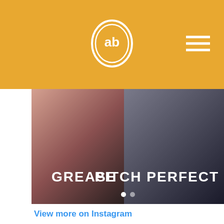[Figure (screenshot): Website header with amber/orange background, 'ab' logo in white oval in center, hamburger menu icon on right]
[Figure (screenshot): Instagram carousel image showing two show/movie banners: GREASE on left (dark moody photo) and PITCH PERFECT on right (people in dark clothing), with carousel navigation dots]
View more on Instagram
[Figure (screenshot): Instagram interaction icons: heart (like), comment bubble, share/upload arrow icons; also shows 195 likes count and comment input field reading 'Add a comment...']
195 likes
Add a comment...